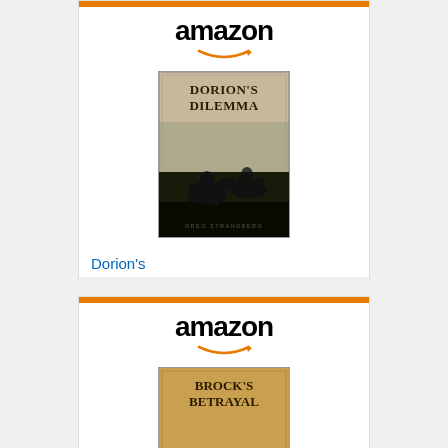[Figure (screenshot): Amazon advertisement widget for book 'Dorion's Dilemma (The...' priced at $3.99 with Shop now button]
[Figure (screenshot): Amazon advertisement widget for book 'Brock's Betrayal (The Mountain...' priced at $3.99]